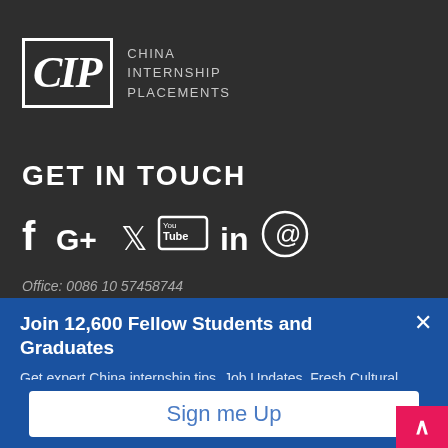[Figure (logo): CIP China Internship Placements logo — white italic CIP text in bordered box with company name text]
GET IN TOUCH
[Figure (infographic): Social media icons: Facebook, Google+, Twitter, YouTube, LinkedIn, Pinterest]
Office: 0086 10 57458744
Join 12,600 Fellow Students and Graduates
Get expert China internship tips, Job Updates, Fresh Cultural Guides, and Scholarship opportunities straight into your inbox – don't miss it. Subscribe to the blog below.
Sign me Up